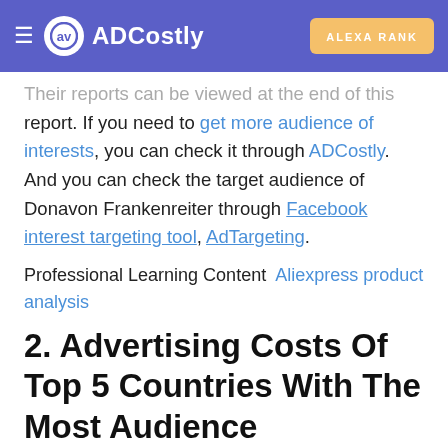ADCostly | ALEXA RANK
Their reports can be viewed at the end of this report. If you need to get more audience of interests, you can check it through ADCostly. And you can check the target audience of Donavon Frankenreiter through Facebook interest targeting tool, AdTargeting.
Professional Learning Content  Aliexpress product analysis
2. Advertising Costs Of Top 5 Countries With The Most Audience